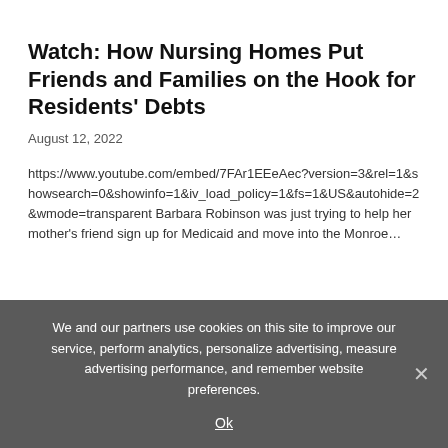Watch: How Nursing Homes Put Friends and Families on the Hook for Residents' Debts
August 12, 2022
https://www.youtube.com/embed/7FAr1EEeAec?version=3&rel=1&showsearch=0&showinfo=1&iv_load_policy=1&fs=1&US&autohide=2&wmode=transparent Barbara Robinson was just trying to help her mother's friend sign up for Medicaid and move into the Monroe…
Tres cosas que hay que saber sobre la cobertura del seguro para abortos
July 29, 2022
We and our partners use cookies on this site to improve our service, perform analytics, personalize advertising, measure advertising performance, and remember website preferences.
Ok